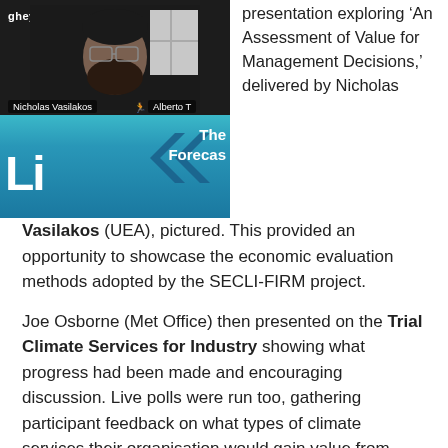[Figure (photo): Screenshot of a video conference showing Nicholas Vasilakos and Alberto T, with a SECLI-FIRM branded background showing 'The Forecas...' text and blue chevron arrows]
presentation exploring 'An Assessment of Value for Management Decisions,' delivered by Nicholas Vasilakos (UEA), pictured. This provided an opportunity to showcase the economic evaluation methods adopted by the SECLI-FIRM project.
Joe Osborne (Met Office) then presented on the Trial Climate Services for Industry showing what progress had been made and encouraging discussion. Live polls were run too, gathering participant feedback on what types of climate services their organisation would gain value from,